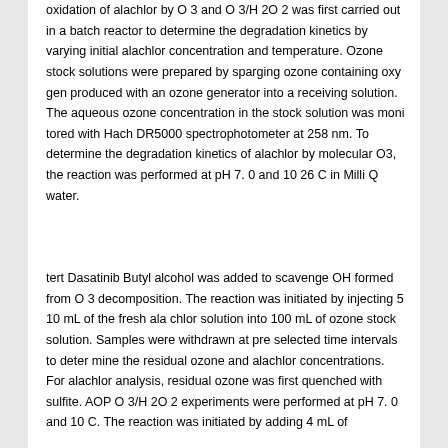oxidation of alachlor by O 3 and O 3/H 2O 2 was first carried out in a batch reactor to determine the degradation kinetics by varying initial alachlor concentration and temperature. Ozone stock solutions were prepared by sparging ozone containing oxy gen produced with an ozone generator into a receiving solution. The aqueous ozone concentration in the stock solution was moni tored with Hach DR5000 spectrophotometer at 258 nm. To determine the degradation kinetics of alachlor by molecular O3, the reaction was performed at pH 7. 0 and 10 26 C in Milli Q water.
tert Dasatinib Butyl alcohol was added to scavenge OH formed from O 3 decomposition. The reaction was initiated by injecting 5 10 mL of the fresh ala chlor solution into 100 mL of ozone stock solution. Samples were withdrawn at pre selected time intervals to deter mine the residual ozone and alachlor concentrations. For alachlor analysis, residual ozone was first quenched with sulfite. AOP O 3/H 2O 2 experiments were performed at pH 7. 0 and 10 C. The reaction was initiated by adding 4 mL of